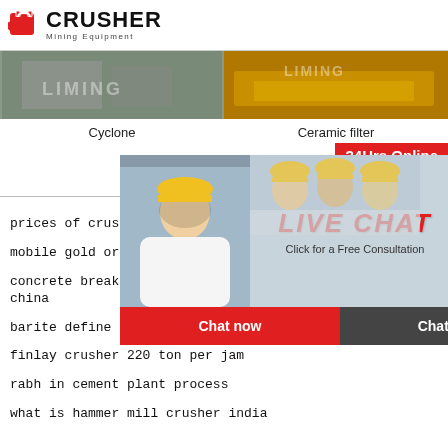[Figure (logo): CRUSHER Mining Equipment logo with red shopping bag icon]
[Figure (photo): Left photo: LIMING building/facility with grey concrete blocks]
[Figure (photo): Right photo: LIMING heavy machinery on yellow truck]
Cyclone
Ceramic filter
[Figure (screenshot): Live Chat popup overlay with workers in hard hats, Chat now and Chat later buttons]
24Hrs Online
prices of crushers
mobile gold ore in mineral processing
concrete breaker crushers made in china
barite define barite at dictionary
finlay crusher 220 ton per jam
rabh in cement plant process
what is hammer mill crusher india
Need questions & suggestion?
Chat Now
Enquiry
limingjlmofen@sina.com